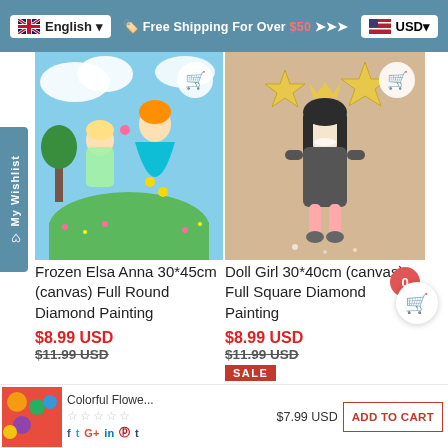English  🚩 Free Shipping For Over $50 ➤➤➤  USD
[Figure (photo): Product photo: Frozen Elsa Anna cartoon characters in colorful dresses in a green field with flowers]
Frozen Elsa Anna 30*45cm (canvas) Full Round Diamond Painting
$8.99 USD
$11.99 USD
[Figure (photo): Product photo: Cute Doll Girl illustration with black hair, grey dress, pink striped stockings, gold stars]
Doll Girl 30*40cm (canvas) Full Square Diamond Painting
$8.99 USD
$11.99 USD
SALE
[Figure (photo): Small product thumbnail: Colorful Flower painting]
Colorful Flowe...
☆☆☆☆☆
f  t  G+  in  ⓟ  t
$7.99 USD
ADD TO CART